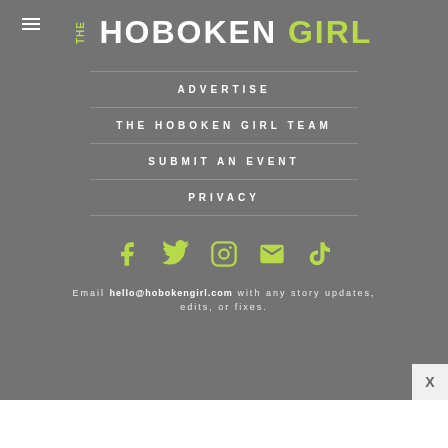THE HOBOKEN GIRL
ADVERTISE
THE HOBOKEN GIRL TEAM
SUBMIT AN EVENT
PRIVACY
[Figure (illustration): Social media icons row: Facebook, Twitter, Instagram, Email/envelope, TikTok — all in yellow-green color]
Email hello@hobokengirl.com with any story updates, edits, or fixes.